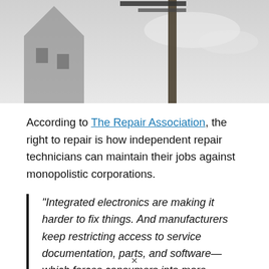[Figure (photo): Black and white photograph showing a street sign post with a cross sign at the top, with a building visible in the background. Sky with clouds visible.]
According to The Repair Association, the right to repair is how independent repair technicians can maintain their jobs against monopolistic corporations.
“Integrated electronics are making it harder to fix things. And manufacturers keep restricting access to service documentation, parts, and software—which forces consumers into more expensive ‘manufacturer-